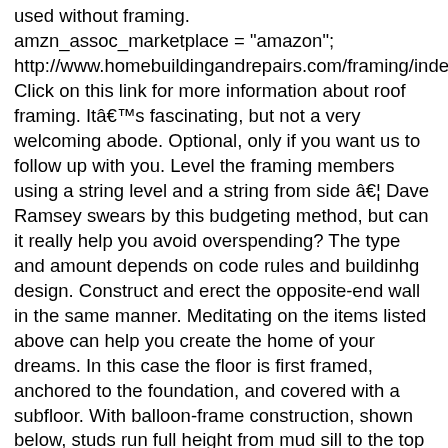used without framing. amzn_assoc_marketplace = "amazon"; http://www.homebuildingandrepairs.com/framing/index.h Click on this link for more information about roof framing. Itâs fascinating, but not a very welcoming abode. Optional, only if you want us to follow up with you. Level the framing members using a string level and a string from side â¦ Dave Ramsey swears by this budgeting method, but can it really help you avoid overspending? The type and amount depends on code rules and buildinhg design. Construct and erect the opposite-end wall in the same manner. Meditating on the items listed above can help you create the home of your dreams. In this case the floor is first framed, anchored to the foundation, and covered with a subfloor. With balloon-frame construction, shown below, studs run full height from mud sill to the top plate, to a maximum of 20 feet. Itâs the interior skeleton that holds most structures together. If youâve clearly laid out what you want and the details that you see as non-negotiable, construction will run much smoother. Whether you are making a storage